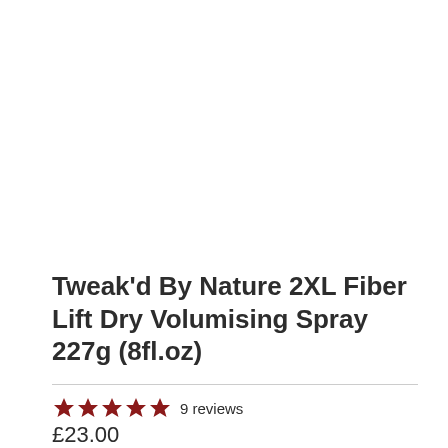Tweak'd By Nature 2XL Fiber Lift Dry Volumising Spray 227g (8fl.oz)
★★★★★ 9 reviews
£23.00